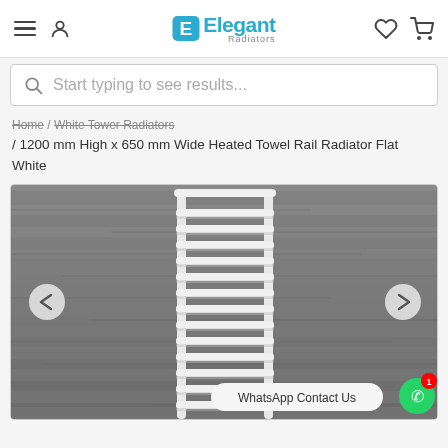Elegant Radiators — navigation header with hamburger menu, user icon, heart icon, and cart icon
Start typing to see results...
Home / White Tower Radiators / 1200 mm High x 650 mm Wide Heated Towel Rail Radiator Flat White
[Figure (photo): White flat heated towel rail radiator mounted on a grey wood-panel wall, shown from front. WhatsApp Contact Us button visible at bottom right.]